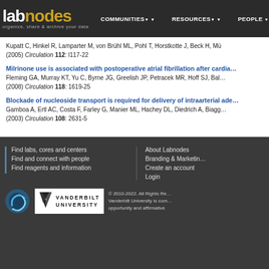labnodes | organize, share & archive your data | COMMUNITIES | RESOURCES | PEOPLE
Kupatt C, Hinkel R, Lamparter M, von Brühl ML, Pohl T, Horstkotte J, Beck H, Mü... (2005) Circulation 112: l117-22
Milrinone use is associated with postoperative atrial fibrillation after cardia... Fleming GA, Murray KT, Yu C, Byrne JG, Greelish JP, Petracek MR, Hoff SJ, Bal... (2008) Circulation 118: 1619-25
Blockade of nucleoside transport is required for delivery of intraarterial ade... Gamboa A, Ertl AC, Costa F, Farley G, Manier ML, Hachey DL, Diedrich A, Biagg... (2003) Circulation 108: 2631-5
Find labs, cores and centers | Find and connect with people | Find reagents and information | About Labnodes | Branding & Marketing | Create an account | Login | © 2010-2022. All Rights Reserved. Vanderbilt University is committed to equal opportunity and affirmative...